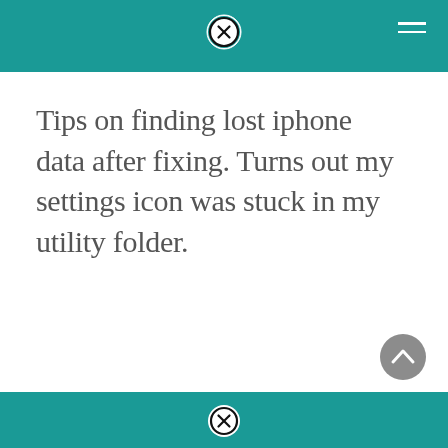Tips on finding lost iphone data after fixing. Turns out my settings icon was stuck in my utility folder.